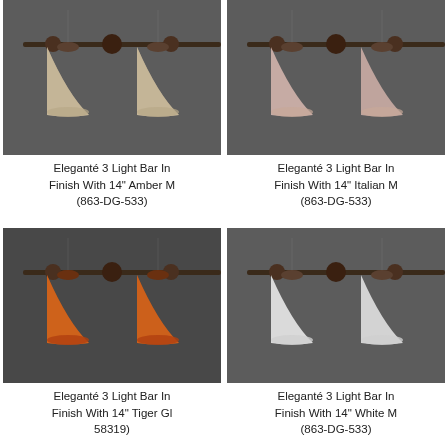[Figure (photo): Eleganté 3 Light Bar pendant with dark finish and two amber marble glass shades on gray background]
Eleganté 3 Light Bar In Finish With 14" Amber M (863-DG-533)
[Figure (photo): Eleganté 3 Light Bar pendant with dark finish and two Italian marble glass shades on gray background]
Eleganté 3 Light Bar In Finish With 14" Italian M (863-DG-533)
[Figure (photo): Eleganté 3 Light Bar pendant with dark finish and two tiger glass shades glowing orange on dark background]
Eleganté 3 Light Bar In Finish With 14" Tiger Gl 58319)
[Figure (photo): Eleganté 3 Light Bar pendant with dark finish and two white marble glass shades on gray background]
Eleganté 3 Light Bar In Finish With 14" White M (863-DG-533)